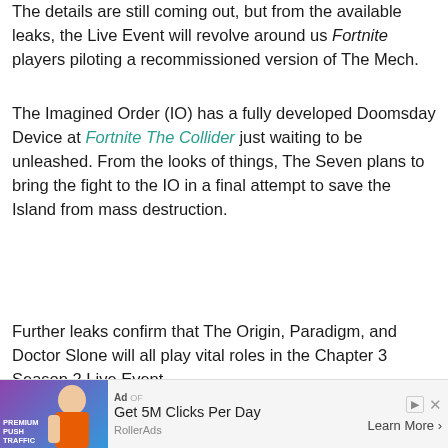The details are still coming out, but from the available leaks, the Live Event will revolve around us Fortnite players piloting a recommissioned version of The Mech.
The Imagined Order (IO) has a fully developed Doomsday Device at Fortnite The Collider just waiting to be unleashed. From the looks of things, The Seven plans to bring the fight to the IO in a final attempt to save the Island from mass destruction.
Further leaks confirm that The Origin, Paradigm, and Doctor Slone will all play vital roles in the Chapter 3 Season 2 Live Event.
[Figure (screenshot): Video player thumbnail showing a Fortnite-themed 'Top Articles by GGRecon' overlay. Dark purple/blue background with a Fortnite character silhouette. White GGRecon logo on left, 'Top Articles' in bold white text, 'by GGRecon' in teal text below.]
[Figure (screenshot): Advertisement bar: 'Ad' label, image of woman with 'PREMIUM PUSH TRAFFIC' text, headline 'Get 5M Clicks Per Day', source 'RollerAds', 'Learn More >' button.]